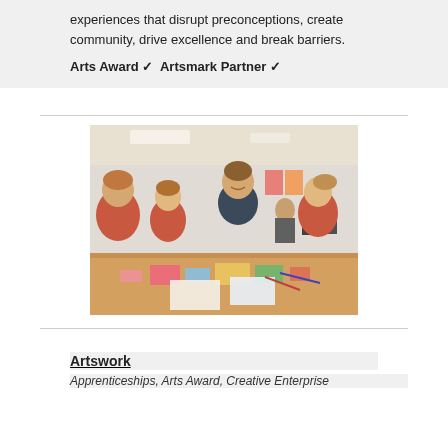experiences that disrupt preconceptions, create community, drive excellence and break barriers.
Arts Award ✓  Artsmark Partner ✓
[Figure (photo): A man in a dark top smiling and working with three children in red school uniforms at a table covered with craft materials and papers in a bright room.]
Artswork
Apprenticeships, Arts Award, Creative Enterprise